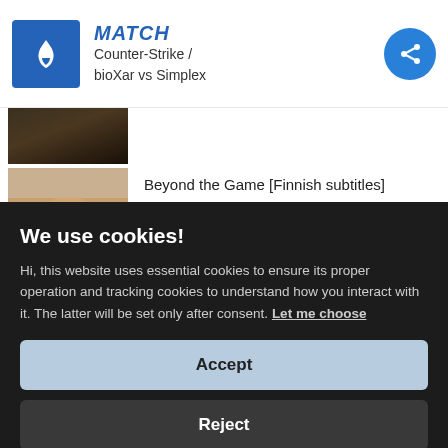MATCH — Counter-Strike / bioXar vs Simplex
[Figure (screenshot): Dark thumbnail image at top]
[Figure (photo): Photo of a person's face - thumbnail for Beyond the Game video]
Beyond the Game [Finnish subtitles]
We use cookies!
Hi, this website uses essential cookies to ensure its proper operation and tracking cookies to understand how you interact with it. The latter will be set only after consent. Let me choose
Accept
Reject